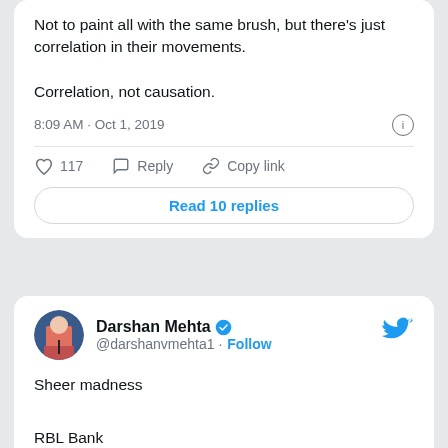Not to paint all with the same brush, but there's just correlation in their movements.

Correlation, not causation.
8:09 AM · Oct 1, 2019
117  Reply  Copy link
Read 10 replies
Darshan Mehta @darshanvmehta1 · Follow
Sheer madness

RBL Bank
YES Bank
DHFL
Indusind Bank
IDFC